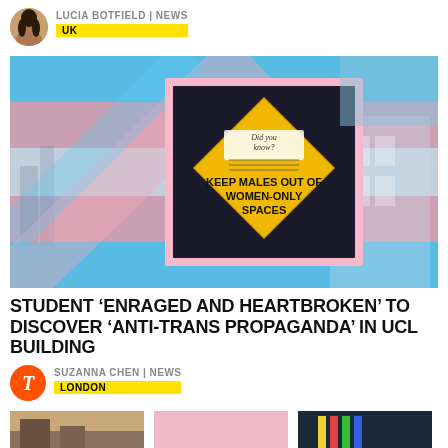LUCIA BOTFIELD | NEWS
UK
[Figure (photo): A composite image showing a trans pride flag background with a pink-bordered inset photo of a yellow diamond-shaped sticker reading 'Did you know? KEEP MALES OUT OF WOMEN-ONLY SPACES']
STUDENT 'ENRAGED AND HEARTBROKEN' TO DISCOVER 'ANTI-TRANS PROPAGANDA' IN UCL BUILDING
SUZANNA CHEN | NEWS
LONDON
[Figure (photo): Bottom strip of three partial images]